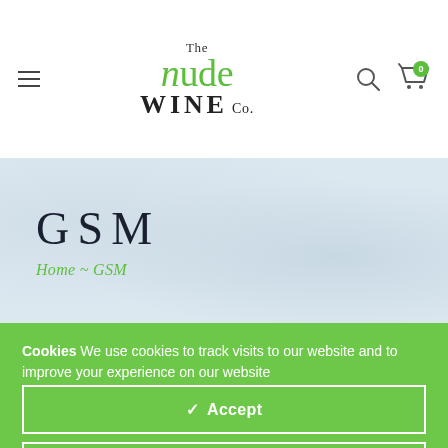The Nude Wine Co.
GSM
Home ~ GSM
Cookies We use cookies to track visits to our website and to improve your experience on our website
✓ Accept
Change Settings ⚙